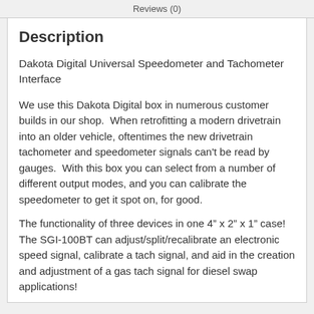Reviews (0)
Description
Dakota Digital Universal Speedometer and Tachometer Interface
We use this Dakota Digital box in numerous customer builds in our shop.  When retrofitting a modern drivetrain into an older vehicle, oftentimes the new drivetrain tachometer and speedometer signals can't be read by gauges.  With this box you can select from a number of different output modes, and you can calibrate the speedometer to get it spot on, for good.
The functionality of three devices in one 4" x 2" x 1" case! The SGI-100BT can adjust/split/recalibrate an electronic speed signal, calibrate a tach signal, and aid in the creation and adjustment of a gas tach signal for diesel swap applications!
Instruction manual
Features: